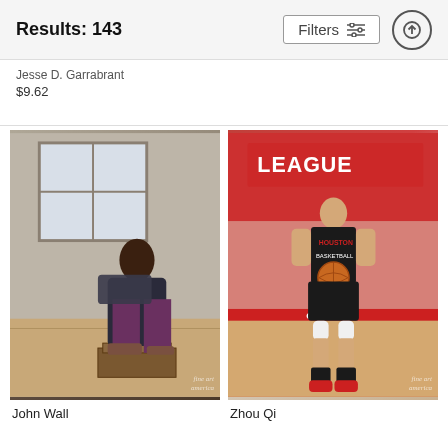Results: 143
Filters
Jesse D. Garrabrant
$9.62
[Figure (photo): Portrait of John Wall, NBA player, sitting on a wooden box in a studio-style setting with brick wall and window background, wearing a dark jacket and purple pants.]
John Wall
[Figure (photo): Zhou Qi, Houston Rockets player, holding a basketball on an NBA G League court, wearing Houston Basketball uniform with red shoes.]
Zhou Qi